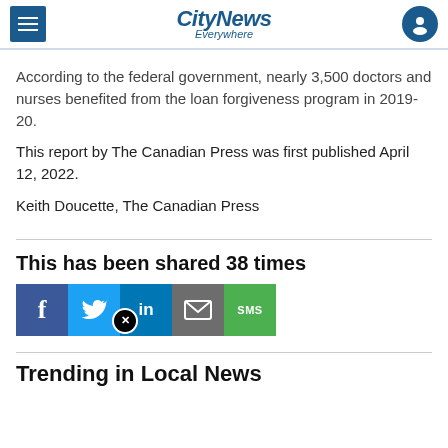CityNews Everywhere
According to the federal government, nearly 3,500 doctors and nurses benefited from the loan forgiveness program in 2019-20.
This report by The Canadian Press was first published April 12, 2022.
Keith Doucette, The Canadian Press
This has been shared 38 times
[Figure (other): Social share buttons: Facebook, Twitter/X, LinkedIn, Email, SMS]
Trending in Local News